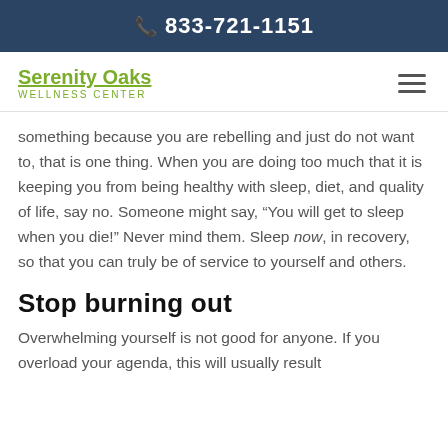833-721-1151
Serenity Oaks WELLNESS CENTER
something because you are rebelling and just do not want to, that is one thing. When you are doing too much that it is keeping you from being healthy with sleep, diet, and quality of life, say no. Someone might say, “You will get to sleep when you die!” Never mind them. Sleep now, in recovery, so that you can truly be of service to yourself and others.
Stop burning out
Overwhelming yourself is not good for anyone. If you overload your agenda, this will usually result